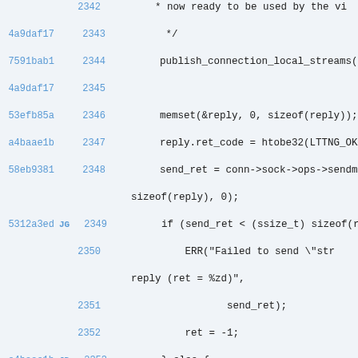Code viewer showing lines 2342-2355 of a C source file with git blame annotations
2342: * now ready to be used by the vi
4a9daf17 2343:     */
7591bab1 2344:     publish_connection_local_streams(
4a9daf17 2345:
53efb85a 2346:     memset(&reply, 0, sizeof(reply));
a4baae1b 2347:     reply.ret_code = htobe32(LTTNG_OK
58eb9381 2348:     send_ret = conn->sock->ops->sendm
2348 cont:     sizeof(reply), 0);
5312a3ed JG 2349:     if (send_ret < (ssize_t) sizeof(r
2350:         ERR("Failed to send \"str
2350 cont: reply (ret = %zd)",
2351:                 send_ret);
2352:         ret = -1;
a4baae1b JD 2353:     } else {
2354:         /* Success. */
2355:         ret = 0;